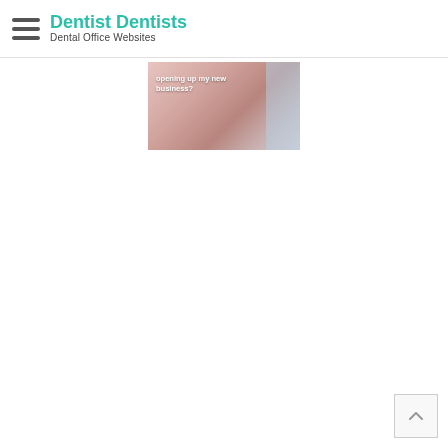Dentist Dentists — Dental Office Websites
[Figure (photo): Partial thumbnail image of a person smiling with overlaid white text reading 'opening up my new business?' on a pinkish-skin-toned background with a pale blue strip on the right.]
[Figure (other): Scroll-to-top button in the bottom right corner — a small square box with a caret/chevron pointing upward inside.]